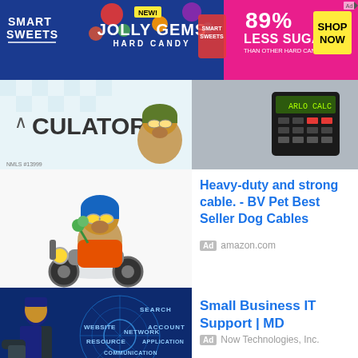[Figure (photo): Smart Sweets Jolly Gems Hard Candy banner advertisement. Blue/pink background. NEW! badge. 89% LESS SUGAR than other hard candies. SHOP NOW yellow button.]
[Figure (screenshot): Calculator app partial screenshot showing ARLO CALC on a calculator device, with a checkered background and arrow chevron. NMLS #13999 text visible.]
Heavy-duty and strong cable. - BV Pet Best Seller Dog Cables
Ad  amazon.com
[Figure (photo): Cartoon dog in a blue helmet and goggles riding a motorcycle, wearing an orange jacket and holding a plant.]
Small Business IT Support | MD
Ad  Now Technologies, Inc.
[Figure (photo): Business IT concept image: person in suit holding a device with blue network diagram showing words: Search, Account, Website, Network, Resource, Application, Communication, Content, Monitoring.]
Best dog travel backpack - best Travel Bag for Supplies
[Figure (photo): Dog travel supplies/backpack with money visible, dark background.]